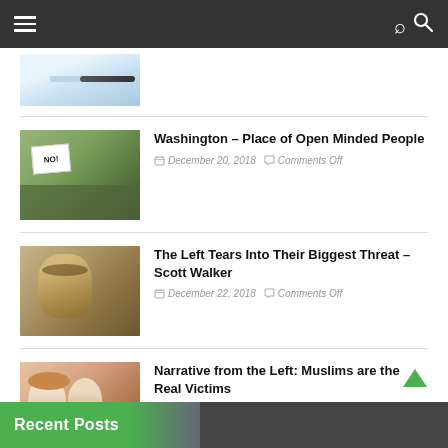Navigation bar with hamburger menu and search icon
[Figure (photo): Partial view of a syringe/medical image at top of page, cropped]
Washington – Place of Open Minded People
December 20, 2018   Comments Off
[Figure (photo): Protest crowd with signs including NO!]
The Left Tears Into Their Biggest Threat – Scott Walker
December 22, 2018   Comments Off
[Figure (photo): Artistic portrait of a face (Trump-like)]
Narrative from the Left: Muslims are the Real Victims
December 23, 2018   Comments Off
[Figure (photo): Group of young women including one wearing a hijab]
Recent Posts